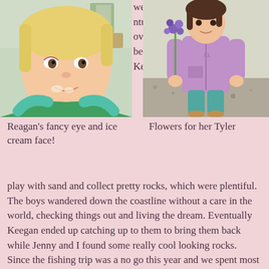[Figure (photo): Close-up photo of a young blonde child with a fancy eye and ice cream on their face, wearing a green shirt and teal jacket, sitting outdoors.]
we adventured over to a beach in Kenai to
[Figure (photo): A young child in a purple/lavender zip-up hoodie and teal pants, standing outdoors holding a bunch of purple flowers.]
Reagan's fancy eye and ice cream face!
Flowers for her Tyler
play with sand and collect pretty rocks, which were plentiful. The boys wandered down the coastline without a care in the world, checking things out and living the dream. Eventually Keegan ended up catching up to them to bring them back while Jenny and I found some really cool looking rocks. Since the fishing trip was a no go this year and we spent most of our time on the beach least year with great, family survival rates, we